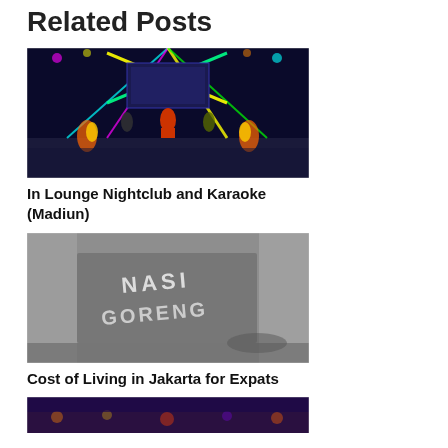Related Posts
[Figure (photo): Colorful nightclub stage with performers and laser lights, possibly a dance competition show]
In Lounge Nightclub and Karaoke (Madiun)
[Figure (photo): Black and white close-up photo of a sign reading NASI GORENG]
Cost of Living in Jakarta for Expats
[Figure (photo): Partial view of a nightlife or city scene at the bottom of the page]